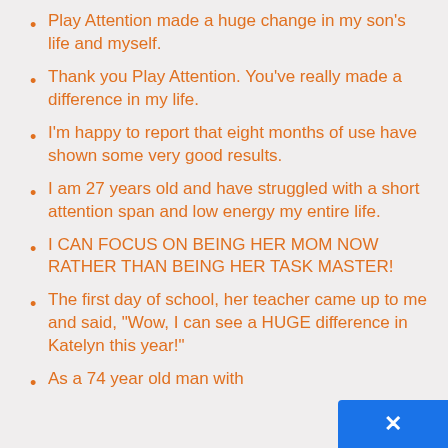Play Attention made a huge change in my son's life and myself.
Thank you Play Attention. You've really made a difference in my life.
I'm happy to report that eight months of use have shown some very good results.
I am 27 years old and have struggled with a short attention span and low energy my entire life.
I CAN FOCUS ON BEING HER MOM NOW RATHER THAN BEING HER TASK MASTER!
The first day of school, her teacher came up to me and said, "Wow, I can see a HUGE difference in Katelyn this year!"
As a 74 year old man with